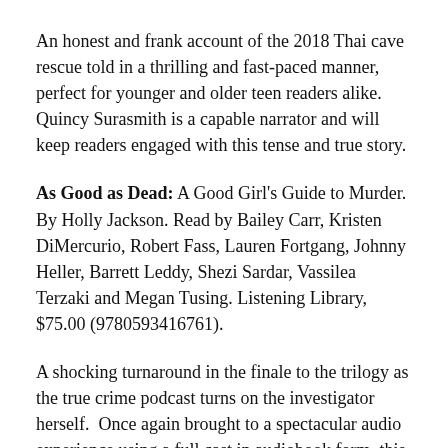An honest and frank account of the 2018 Thai cave rescue told in a thrilling and fast-paced manner, perfect for younger and older teen readers alike. Quincy Surasmith is a capable narrator and will keep readers engaged with this tense and true story.
As Good as Dead: A Good Girl's Guide to Murder. By Holly Jackson. Read by Bailey Carr, Kristen DiMercurio, Robert Fass, Lauren Fortgang, Johnny Heller, Barrett Leddy, Shezi Sardar, Vassilea Terzaki and Megan Tusing. Listening Library, $75.00 (9780593416761).
A shocking turnaround in the finale to the trilogy as the true crime podcast turns on the investigator herself. Once again brought to a spectacular audio experience using a full cast in audiobook form, this wrap up to the story will keep readers breathless to